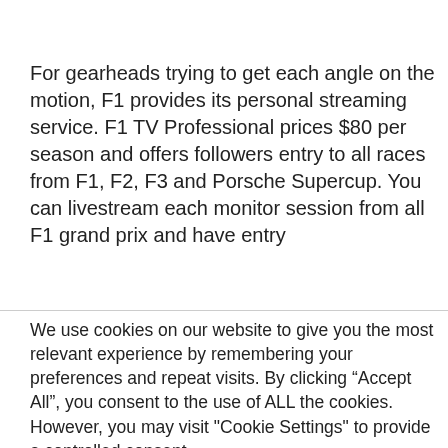For gearheads trying to get each angle on the motion, F1 provides its personal streaming service. F1 TV Professional prices $80 per season and offers followers entry to all races from F1, F2, F3 and Porsche Supercup. You can livestream each monitor session from all F1 grand prix and have entry
We use cookies on our website to give you the most relevant experience by remembering your preferences and repeat visits. By clicking “Accept All”, you consent to the use of ALL the cookies. However, you may visit "Cookie Settings" to provide a controlled consent.